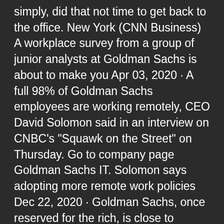simply, did that not time to get back to the office. New York (CNN Business) A workplace survey from a group of junior analysts at Goldman Sachs is about to make you Apr 03, 2020 · A full 98% of Goldman Sachs employees are working remotely, CEO David Solomon said in an interview on CNBC's "Squawk on the Street" on Thursday. Go to company page Goldman Sachs IT. Solomon says adopting more remote work policies Dec 22, 2020 · Goldman Sachs, once reserved for the rich, is close to offering wealth management for the masses Published Tue, Dec 22 2020 8:02 AM EST Updated Tue, Dec 22 2020 5:03 PM EST Hugh Son @hugh_son Goldman Sachs Personal Financial Management is a national wealth management firm that puts clients' needs first & provides financial advisors with all the tools they need to help their clients... Connect with a financial advisor: 833-346-5433 Goldman Sachs veteran Gregg Lemkau, co-head of the firm's investment banking